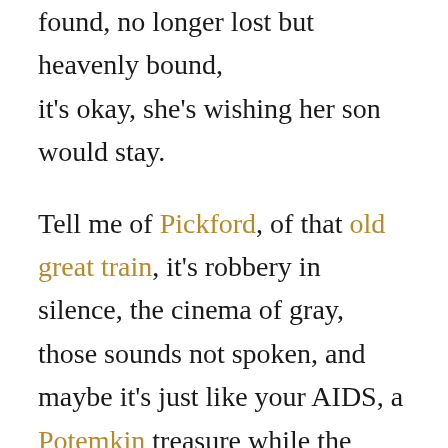found, no longer lost but heavenly bound, it's okay, she's wishing her son would stay.
Tell me of Pickford, of that old great train, it's robbery in silence, the cinema of gray, those sounds not spoken, and maybe it's just like your AIDS, a Potemkin treasure while the theatre organ plays. You're quite a Chaplin today, funny man looking for stories while your breath goes away, Bobby in silence it goes far away.
“You’ll always write great things”, Bobby’s